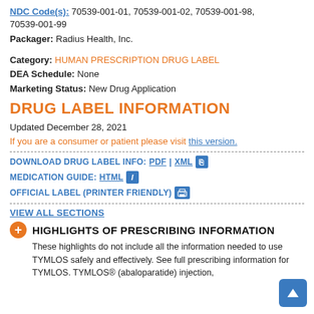NDC Code(s): 70539-001-01, 70539-001-02, 70539-001-98, 70539-001-99
Packager: Radius Health, Inc.
Category: HUMAN PRESCRIPTION DRUG LABEL
DEA Schedule: None
Marketing Status: New Drug Application
DRUG LABEL INFORMATION
Updated December 28, 2021
If you are a consumer or patient please visit this version.
DOWNLOAD DRUG LABEL INFO: PDF | XML
MEDICATION GUIDE: HTML
OFFICIAL LABEL (PRINTER FRIENDLY)
VIEW ALL SECTIONS
HIGHLIGHTS OF PRESCRIBING INFORMATION
These highlights do not include all the information needed to use TYMLOS safely and effectively. See full prescribing information for TYMLOS. TYMLOS® (abaloparatide) injection,